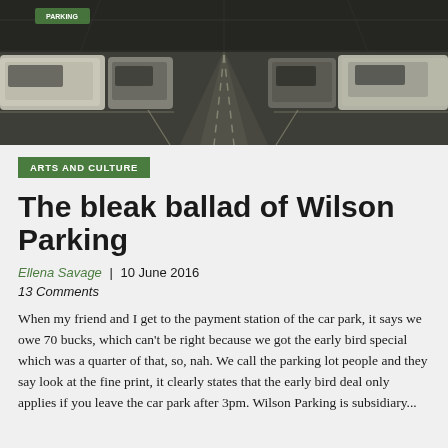[Figure (photo): Dark overhead photo of cars parked in a car park, viewed from above along a central aisle, with white parking markings visible.]
ARTS AND CULTURE
The bleak ballad of Wilson Parking
Ellena Savage | 10 June 2016
13 Comments
When my friend and I get to the payment station of the car park, it says we owe 70 bucks, which can't be right because we got the early bird special which was a quarter of that, so, nah. We call the parking lot people and they say look at the fine print, it clearly states that the early bird deal only applies if you leave the car park after 3pm. Wilson Parking is subsidiary...